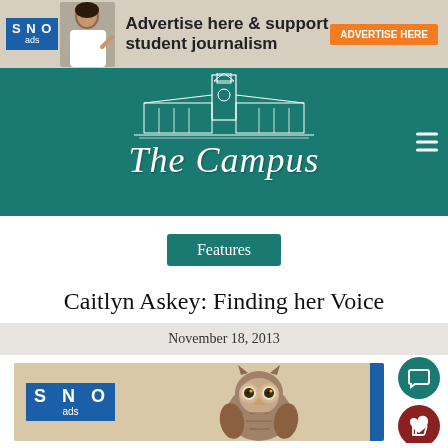[Figure (infographic): SNO ads banner: advertise here and support student journalism, with orange ADVERTISE HERE button and woman pointing]
[Figure (logo): The Campus newspaper masthead logo with teal background, building illustration, and italic serif title text]
Features
Caitlyn Askey: Finding her Voice
November 18, 2013
[Figure (infographic): SNO ads placeholder image with owl photo and blue sidebar strip]